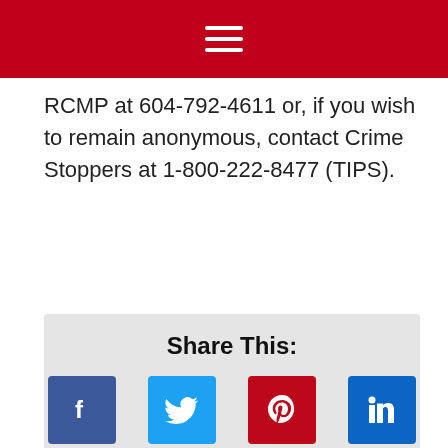Navigation menu (hamburger icon) on red background
RCMP at 604-792-4611 or, if you wish to remain anonymous, contact Crime Stoppers at 1-800-222-8477 (TIPS).
Share This:
[Figure (infographic): Social media share buttons: Facebook (dark blue), Twitter (light blue), Pinterest (dark red), LinkedIn (blue)]
[Figure (photo): Partial view of EVN logo on blue background with a camera visible on the right side]